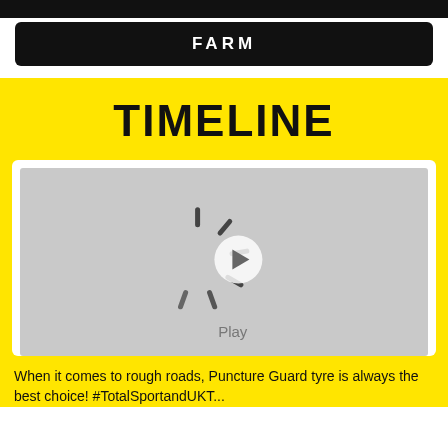FARM
TIMELINE
[Figure (screenshot): Video thumbnail placeholder with a play button icon and loading spinner lines, showing 'Play' label below the button. Gray background.]
When it comes to rough roads, Puncture Guard tyre is always the best choice! #TotalSportandUKT...